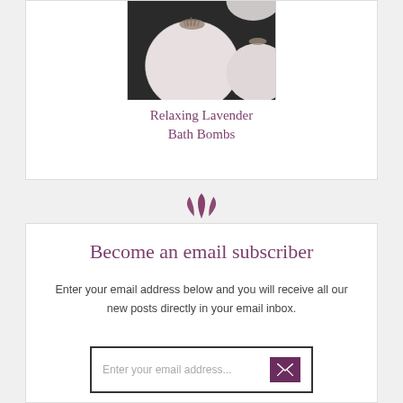[Figure (photo): Photo of white round bath bombs with lavender herbs on top, on a dark background]
Relaxing Lavender Bath Bombs
[Figure (illustration): Three purple leaf/petal icon decorative divider]
Become an email subscriber
Enter your email address below and you will receive all our new posts directly in your email inbox.
Enter your email address...